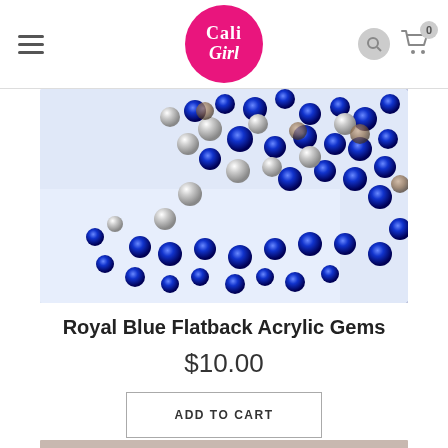[Figure (logo): Cali Girl logo - pink circle with white cursive text]
[Figure (photo): Royal Blue Flatback Acrylic Gems - blue and silver rhinestone gems scattered on white glitter background]
Royal Blue Flatback Acrylic Gems
$10.00
ADD TO CART
[Figure (photo): Partial view of another product image at bottom of page]